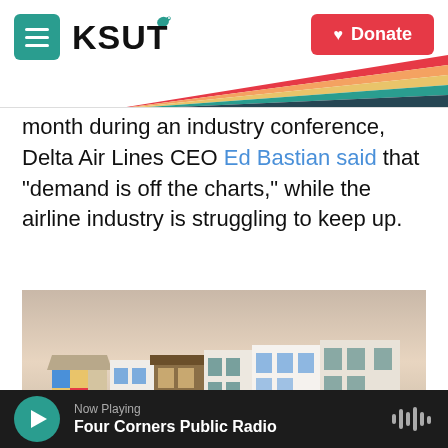KSUT | Donate
month during an industry conference, Delta Air Lines CEO Ed Bastian said that "demand is off the charts," while the airline industry is struggling to keep up.
[Figure (photo): Photograph of a coastal Mediterranean town, likely Mykonos, Greece, with white-washed buildings along the waterfront at dusk. People are visible on a dock in the foreground right.]
Now Playing — Four Corners Public Radio